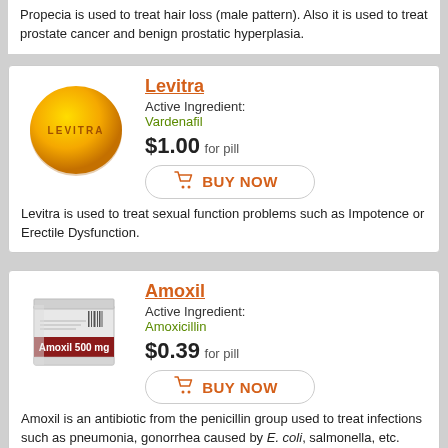Propecia is used to treat hair loss (male pattern). Also it is used to treat prostate cancer and benign prostatic hyperplasia.
Levitra
Active Ingredient: Vardenafil
$1.00 for pill
BUY NOW
Levitra is used to treat sexual function problems such as Impotence or Erectile Dysfunction.
Amoxil
Active Ingredient: Amoxicillin
$0.39 for pill
BUY NOW
Amoxil is an antibiotic from the penicillin group used to treat infections such as pneumonia, gonorrhea caused by E. coli, salmonella, etc.